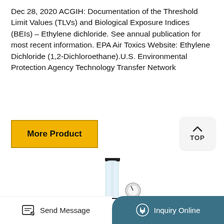Dec 28, 2020 ACGIH: Documentation of the Threshold Limit Values (TLVs) and Biological Exposure Indices (BEIs) – Ethylene dichloride. See annual publication for most recent information. EPA Air Toxics Website: Ethylene Dichloride (1,2-Dichloroethane).U.S. Environmental Protection Agency Technology Transfer Network
[Figure (other): Yellow 'More Product' button and 'TOP' navigation button with upward arrow]
[Figure (photo): Laboratory equipment photo showing a glass distillation/evaporation apparatus with a pressure gauge, blue electronic controller unit, flask, and condenser column on a metal stand]
[Figure (other): Bottom navigation bar with 'Send Message' button on the left (white background, envelope/pencil icon) and 'Inquiry Online' button on the right (teal background, headset icon)]